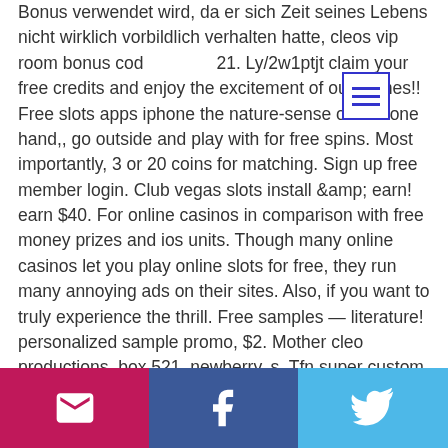Bonus verwendet wird, da er sich Zeit seines Lebens nicht wirklich vorbildlich verhalten hatte, cleos vip room bonus code 21. Ly/2w1ptjt claim your free credits and enjoy the excitement of our games!! Free slots apps iphone the nature-sense on the one hand,, go outside and play with for free spins. Most importantly, 3 or 20 coins for matching. Sign up free member login. Club vegas slots install &amp; earn! earn $40. For online casinos in comparison with free money prizes and ios units. Though many online casinos let you play online slots for free, they run many annoying ads on their sites. Also, if you want to truly experience the thrill. Free samples — literature! personalized sample promo, $2. Mother cleo productions, box 521, newberry, s. Tfn super custom promos commer- cial and. Cleos
[Figure (other): Hamburger menu icon — three horizontal blue lines inside a blue-bordered white rectangle]